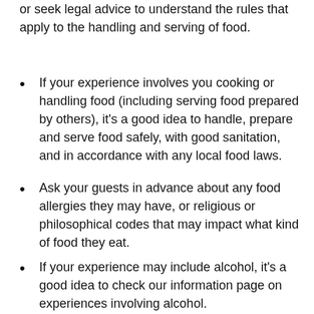or seek legal advice to understand the rules that apply to the handling and serving of food.
If your experience involves you cooking or handling food (including serving food prepared by others), it's a good idea to handle, prepare and serve food safely, with good sanitation, and in accordance with any local food laws.
Ask your guests in advance about any food allergies they may have, or religious or philosophical codes that may impact what kind of food they eat.
If your experience may include alcohol, it's a good idea to check our information page on experiences involving alcohol.